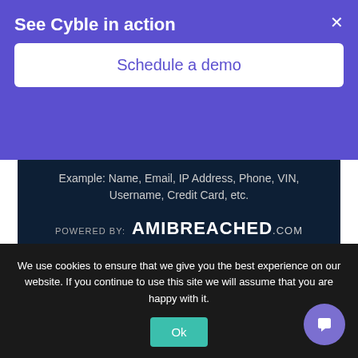See Cyble in action
Schedule a demo
Example: Name, Email, IP Address, Phone, VIN, Username, Credit Card, etc.
POWERED BY: AMIBREACHED.com
About Us
We use cookies to ensure that we give you the best experience on our website. If you continue to use this site we will assume that you are happy with it.